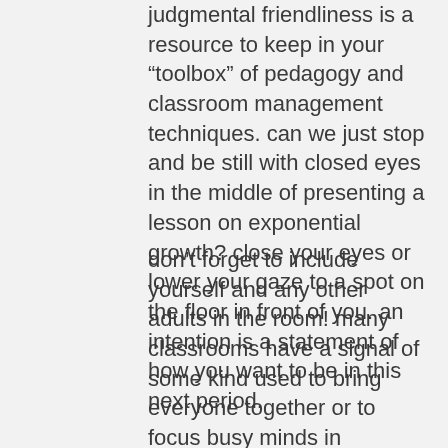happening in the moment and responding with non-judgmental friendliness is a resource to keep in your “toolbox” of pedagogy and classroom management techniques. can we just stop and be still with closed eyes in the middle of presenting a lesson on exponential growth? close your eyes or lower your gaze to a spot on the floor in front of you. an intention is a statement of how you want to be in this next period.
don’t forget to include yourself and any other adults in the room! many classrooms have a signal of some kind used to bring everyone together or to focus busy minds in preparation for a lesson. millions of years ago when humans lived in the wild, our brains evolved to be alert to danger. sitting in a circle and each sharing something we’re grateful for can be a lovely way to end the day. join us for a day dedicated to mindfulness practice, community, and connection get started with the science of mindfulness and simple yet powerful strategies to bring mindfulness into daily life to manage stress